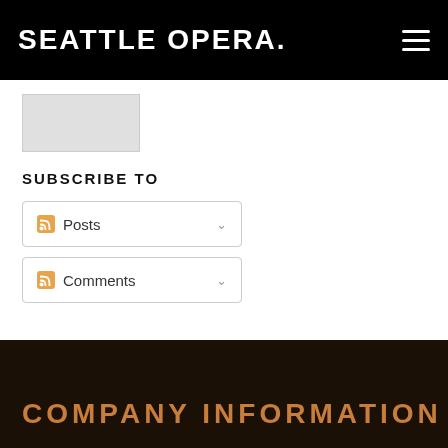SEATTLE OPERA.
[Figure (other): Gray placeholder box/image area]
SUBSCRIBE TO
Posts (RSS dropdown button)
Comments (RSS dropdown button)
COMPANY INFORMATION